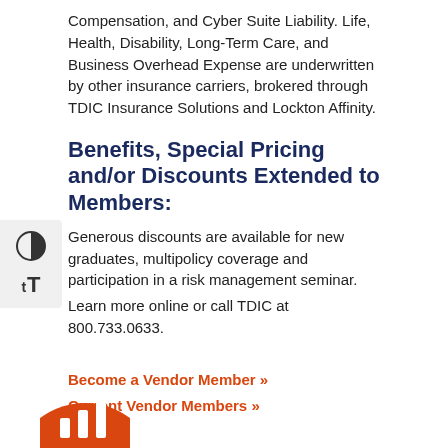Compensation, and Cyber Suite Liability. Life, Health, Disability, Long-Term Care, and Business Overhead Expense are underwritten by other insurance carriers, brokered through TDIC Insurance Solutions and Lockton Affinity.
Benefits, Special Pricing and/or Discounts Extended to Members:
Generous discounts are available for new graduates, multipolicy coverage and participation in a risk management seminar.
Learn more online or call TDIC at 800.733.0633.
Become a Vendor Member »
Current Vendor Members »
[Figure (logo): Circular orange logo partially visible at bottom left of page]